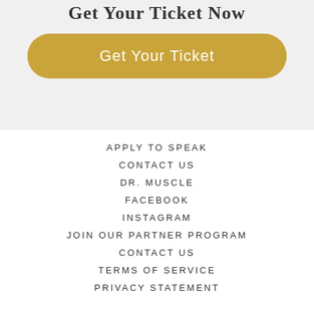Get Your Ticket Now
Get Your Ticket
APPLY TO SPEAK
CONTACT US
DR. MUSCLE
FACEBOOK
INSTAGRAM
JOIN OUR PARTNER PROGRAM
CONTACT US
TERMS OF SERVICE
PRIVACY STATEMENT